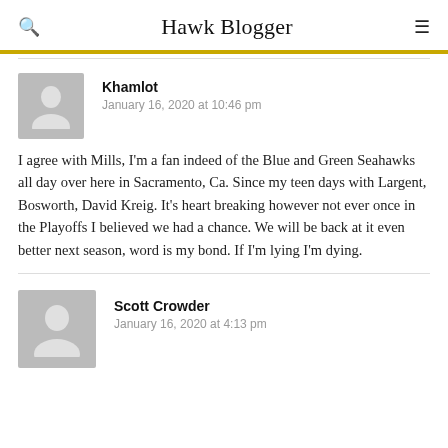Hawk Blogger
Khamlot
January 16, 2020 at 10:46 pm
I agree with Mills, I'm a fan indeed of the Blue and Green Seahawks all day over here in Sacramento, Ca. Since my teen days with Largent, Bosworth, David Kreig. It's heart breaking however not ever once in the Playoffs I believed we had a chance. We will be back at it even better next season, word is my bond. If I'm lying I'm dying.
Scott Crowder
January 16, 2020 at 4:13 pm